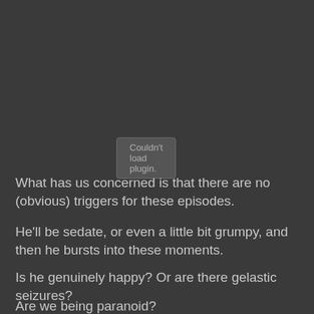[Figure (other): Plugin placeholder box with text 'Couldn't load plugin.']
What has us concerned is that there are no (obvious) triggers for these episodes.
He'll be sedate, or even a little bit grumpy, and then he bursts into these moments.
Is he genuinely happy? Or are there gelastic seizures?
Are we being paranoid?